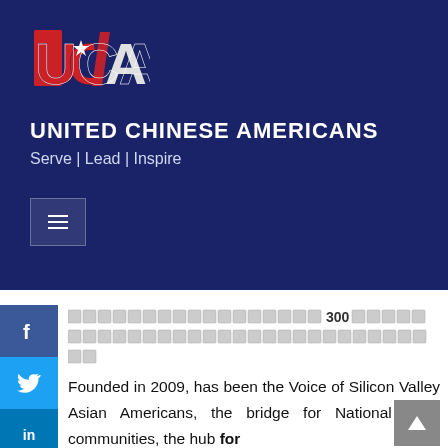[Figure (logo): UCA logo with stylized letters U, C, A in red, white and blue with a star]
UNITED CHINESE AMERICANS
Serve | Lead | Inspire
[Figure (other): Hamburger menu button]
Chinese text characters with 300 and additional characters
Founded in 2009, has been the Voice of Silicon Valley Asian Americans, the bridge for National AAPI communities, the hub for